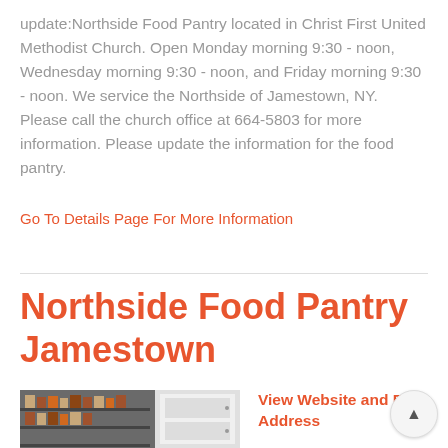update:Northside Food Pantry located in Christ First United Methodist Church. Open Monday morning 9:30 - noon, Wednesday morning 9:30 - noon, and Friday morning 9:30 - noon. We service the Northside of Jamestown, NY.  Please call the church office at 664-5803 for more information. Please update the information for the food pantry.
Go To Details Page For More Information
Northside Food Pantry Jamestown
[Figure (photo): Photo of food pantry shelves with canned goods and a refrigerator]
View Website and Full Address